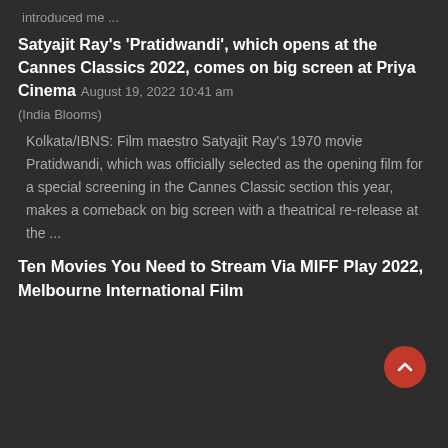introduced me ...
Satyajit Ray's 'Pratidwandi', which opens at the Cannes Classics 2022, comes on big screen at Priya Cinema
August 19, 2022 10:41 am
(India Blooms)
Kolkata/IBNS: Film maestro Satyajit Ray's 1970 movie Pratidwandi, which was officially selected as the opening film for a special screening in the Cannes Classic section this year,  makes a comeback on big screen with a theatrical re-release at the ...
Ten Movies You Need to Stream Via MIFF Play 2022, Melbourne International Film